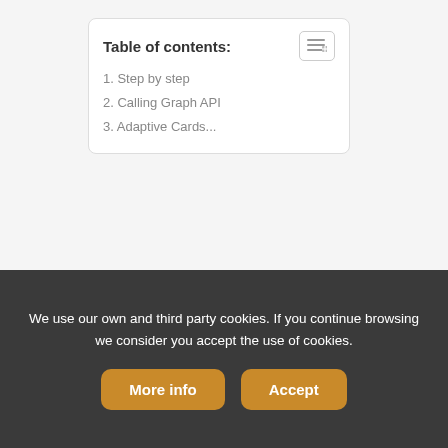| Table of contents: |
| --- |
| 1. Step by step |
| 2. Calling Graph API |
| 3. Adaptive Cards... |
[Figure (infographic): Social sharing icons: Twitter, LinkedIn, Facebook, Email — orange rounded square buttons]
With this new trigger you can add create a new level of governance for your Microsoft Teams. Especially when speaking about the on-boarding users or other automated processes for newly added Teams members.
STEP BY STEP
We use our own and third party cookies. If you continue browsing we consider you accept the use of cookies.